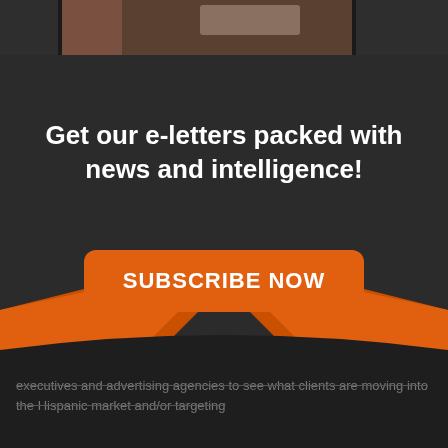[Figure (screenshot): Top image strip showing partial photos/content behind a dark overlay modal]
Get our e-letters packed with news and intelligence!
[Figure (illustration): Orange decorative ribbon/banner SVG shape behind a subscribe button]
SUBSCRIBE NOW
executives and advertising agencies to see what clients are moving into the Hispanic market and/or targeting